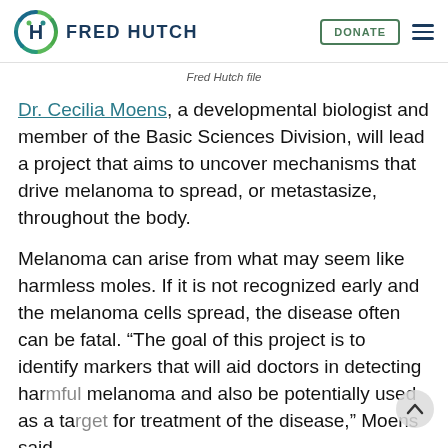FRED HUTCH
Fred Hutch file
Dr. Cecilia Moens, a developmental biologist and member of the Basic Sciences Division, will lead a project that aims to uncover mechanisms that drive melanoma to spread, or metastasize, throughout the body.
Melanoma can arise from what may seem like harmless moles. If it is not recognized early and the melanoma cells spread, the disease often can be fatal. “The goal of this project is to identify markers that will aid doctors in detecting harmful melanoma and also be potentially used as a target for treatment of the disease,” Moens said.